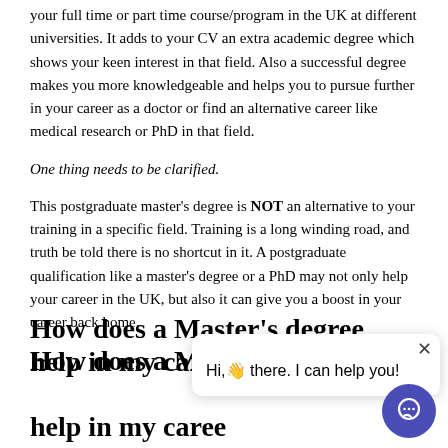your full time or part time course/program in the UK at different universities. It adds to your CV an extra academic degree which shows your keen interest in that field. Also a successful degree makes you more knowledgeable and helps you to pursue further in your career as a doctor or find an alternative career like medical research or PhD in that field.
One thing needs to be clarified.
This postgraduate master’s degree is NOT an alternative to your training in a specific field. Training is a long winding road, and truth be told there is no shortcut in it. A postgraduate qualification like a master’s degree or a PhD may not only help your career in the UK, but also it can give you a boost in your career back home.
How does a Master’s degree help in my career in the UK?
A postgraduate degree adds points to your Core/Specialty Training application.